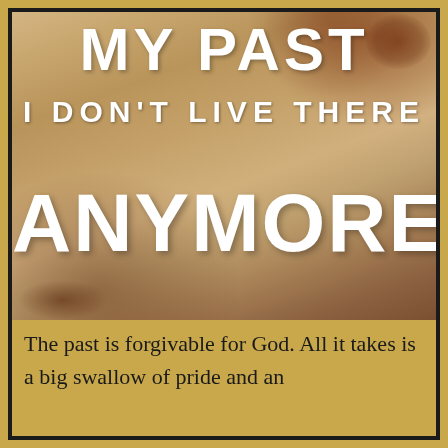[Figure (illustration): Aged, distressed paper background with rust/brown stains, displaying motivational text: 'MY PAST', 'I DON'T LIVE THERE', 'ANYMORE' in white bold typography on a torn vintage paper look.]
The past is forgivable for God. All it takes is a big swallow of pride and an